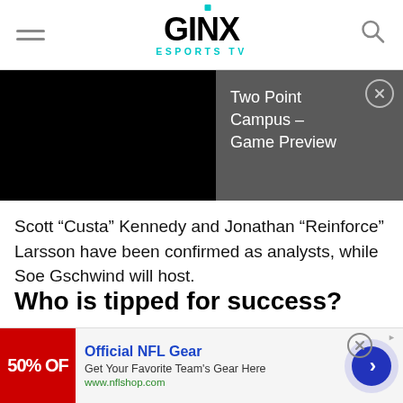GINX ESPORTS TV
[Figure (screenshot): Video player showing black screen with overlay panel. Overlay panel (gray background) shows title 'Two Point Campus – Game Preview' with a close button (circle X).]
Scott “Custa” Kennedy and Jonathan “Reinforce” Larsson have been confirmed as analysts, while Soe Gschwind will host.
Who is tipped for success?
As winners of last year’s Overwatch League, San Francisco Shock will be looking to continue their dominating streak in 2020.
[Figure (infographic): Advertisement banner: Official NFL Gear - Get Your Favorite Team's Gear Here - www.nflshop.com. Shows red image with '50% OFF' text, blue title, and a circular arrow button.]